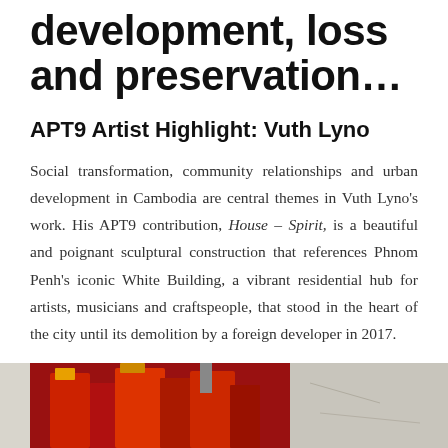development, loss and preservation…
APT9 Artist Highlight: Vuth Lyno
Social transformation, community relationships and urban development in Cambodia are central themes in Vuth Lyno's work. His APT9 contribution, House – Spirit, is a beautiful and poignant sculptural construction that references Phnom Penh's iconic White Building, a vibrant residential hub for artists, musicians and craftspeople, that stood in the heart of the city until its demolition by a foreign developer in 2017.
[Figure (photo): Photograph of a sculptural artwork with red structures, appearing to reference the White Building]